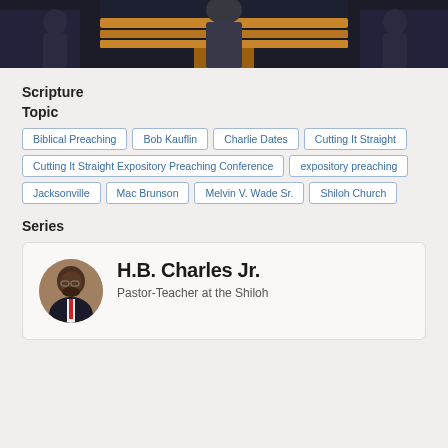[Figure (photo): Photo of people near a wooden pulpit/lectern in a church setting]
Scripture
Topic
Biblical Preaching
Bob Kauflin
Charlie Dates
Cutting It Straight
Cutting It Straight Expository Preaching Conference
expository preaching
Jacksonville
Mac Brunson
Melvin V. Wade Sr.
Shiloh Church
Series
[Figure (photo): Circular headshot photo of H.B. Charles Jr., a man in a suit]
H.B. Charles Jr.
Pastor-Teacher at the Shiloh